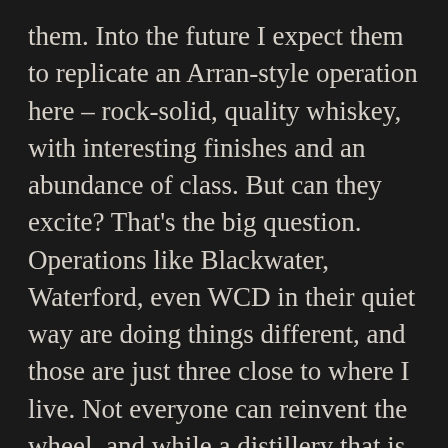them. Into the future I expect them to replicate an Arran-style operation here – rock-solid, quality whiskey, with interesting finishes and an abundance of class. But can they excite? That's the big question. Operations like Blackwater, Waterford, even WCD in their quiet way are doing things different, and those are just three close to where I live. Not everyone can reinvent the wheel, and while a distillery that is dependable is a great thing, it will be interesting to see how Powerscourt stands out. It is very much to the manor born, but it may need more than lineage to capture hearts and minds in a crowded market.